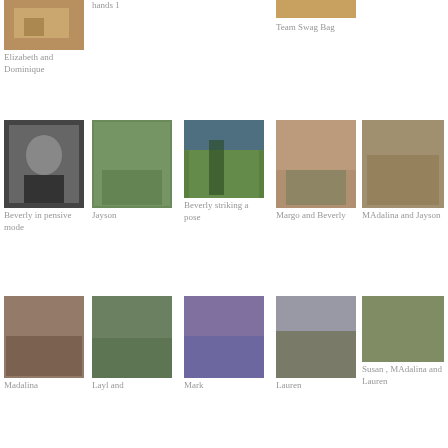[Figure (photo): Photo of outdoor table/chairs scene - top left]
Elizabeth and Dominique
hands 1
[Figure (photo): Team Swag Bag photo]
Team Swag Bag
[Figure (photo): Beverly in pensive mode]
Beverly in pensive mode
[Figure (photo): Jayson]
Jayson
[Figure (photo): Beverly striking a pose]
Beverly striking a pose
[Figure (photo): Margo and Beverly]
Margo and Beverly
[Figure (photo): MAdalina and Jayson]
MAdalina and Jayson
[Figure (photo): Madalina]
Madalina
[Figure (photo): Layl and ...]
Layl and
[Figure (photo): Mark]
Mark
[Figure (photo): Lauren]
Lauren
[Figure (photo): Susan, MAdalina and Lauren]
Susan , MAdalina and Lauren